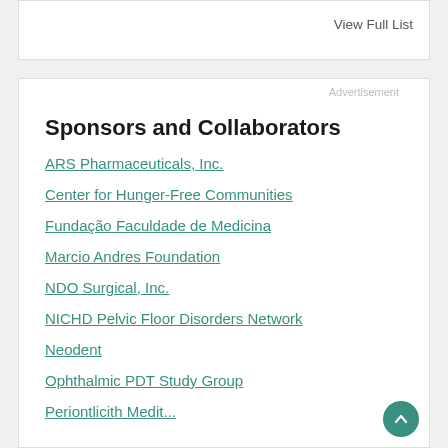View Full List
Advertisement
Sponsors and Collaborators
ARS Pharmaceuticals, Inc.
Center for Hunger-Free Communities
Fundação Faculdade de Medicina
Marcio Andres Foundation
NDO Surgical, Inc.
NICHD Pelvic Floor Disorders Network
Neodent
Ophthalmic PDT Study Group
Periodontitis Meditr...